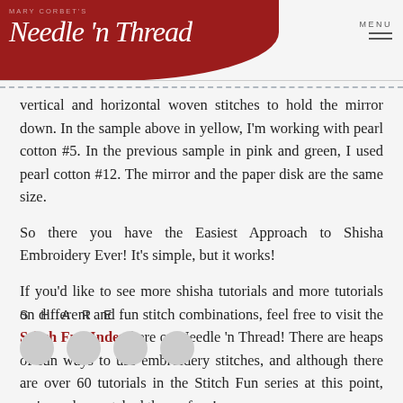Mary Corbet's Needle 'n Thread — MENU
vertical and horizontal woven stitches to hold the mirror down. In the sample above in yellow, I'm working with pearl cotton #5. In the previous sample in pink and green, I used pearl cotton #12. The mirror and the paper disk are the same size.
So there you have the Easiest Approach to Shisha Embroidery Ever! It's simple, but it works!
If you'd like to see more shisha tutorials and more tutorials on different and fun stitch combinations, feel free to visit the Stitch Fun Index here on Needle 'n Thread! There are heaps of fun ways to use embroidery stitches, and although there are over 60 tutorials in the Stitch Fun series at this point, we've only scratched the surface!
SHARE